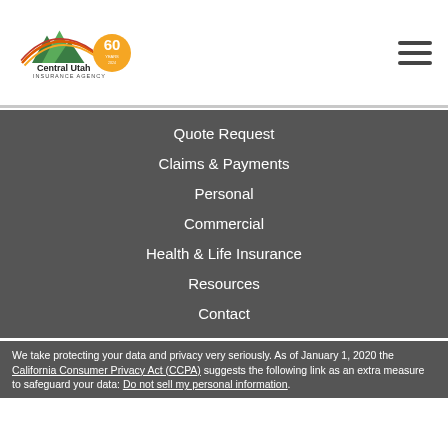[Figure (logo): Central Utah Insurance Agency 60th anniversary logo with mountain and arc graphic]
Quote Request
Claims & Payments
Personal
Commercial
Health & Life Insurance
Resources
Contact
We take protecting your data and privacy very seriously. As of January 1, 2020 the California Consumer Privacy Act (CCPA) suggests the following link as an extra measure to safeguard your data: Do not sell my personal information.
[Figure (logo): Blue winged bird/eagle logo at bottom of page]